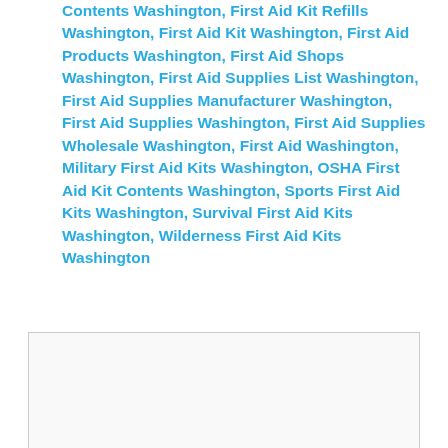Contents Washington, First Aid Kit Refills Washington, First Aid Kit Washington, First Aid Products Washington, First Aid Shops Washington, First Aid Supplies List Washington, First Aid Supplies Manufacturer Washington, First Aid Supplies Washington, First Aid Supplies Wholesale Washington, First Aid Washington, Military First Aid Kits Washington, OSHA First Aid Kit Contents Washington, Sports First Aid Kits Washington, Survival First Aid Kits Washington, Wilderness First Aid Kits Washington
[Figure (other): Empty advertisement or placeholder box with a light gray border]